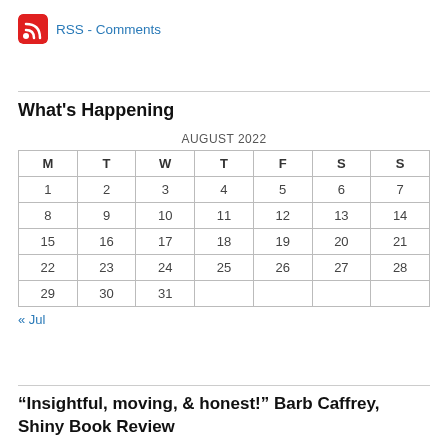[Figure (logo): RSS feed icon (red square with white wifi/feed symbol) followed by blue link text 'RSS - Comments']
What's Happening
| M | T | W | T | F | S | S |
| --- | --- | --- | --- | --- | --- | --- |
| 1 | 2 | 3 | 4 | 5 | 6 | 7 |
| 8 | 9 | 10 | 11 | 12 | 13 | 14 |
| 15 | 16 | 17 | 18 | 19 | 20 | 21 |
| 22 | 23 | 24 | 25 | 26 | 27 | 28 |
| 29 | 30 | 31 |  |  |  |  |
« Jul
“Insightful, moving, & honest!” Barb Caffrey, Shiny Book Review